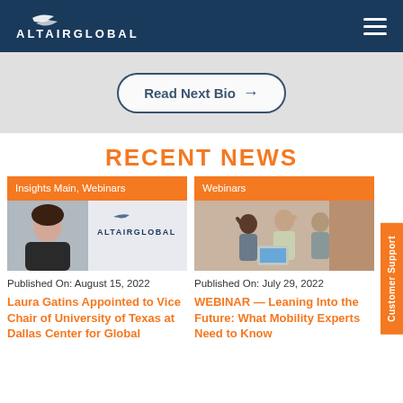ALTAIRGLOBAL
[Figure (screenshot): Gray section with Read Next Bio button]
RECENT NEWS
Insights Main, Webinars
[Figure (photo): Photo of Laura Gatins with Altair Global logo background]
Published On: August 15, 2022
Laura Gatins Appointed to Vice Chair of University of Texas at Dallas Center for Global
Webinars
[Figure (photo): Photo of group of people in office setting looking at laptop]
Published On: July 29, 2022
WEBINAR — Leaning Into the Future: What Mobility Experts Need to Know